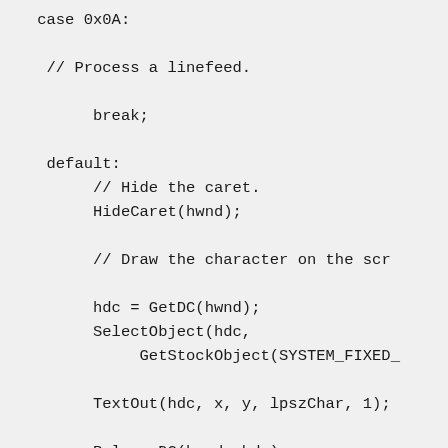case 0x0A:

 // Process a linefeed.

     break;

 default:
      // Hide the caret.
      HideCaret(hwnd);

      // Draw the character on the scr

      hdc = GetDC(hwnd);
      SelectObject(hdc,
           GetStockObject(SYSTEM_FIXED_

      TextOut(hdc, x, y, lpszChar, 1);

      ReleaseDC(hwnd, hdc);

      // Display the caret.

      ShowCaret(hwnd);